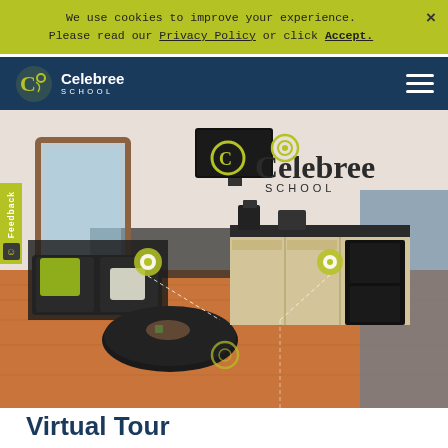We use cookies to improve your experience. Please read our Privacy Policy or click Accept.
Celebree School — navigation bar with logo and hamburger menu
[Figure (photo): Interior photo of a Celebree School lobby/reception area with hardwood floors, black leather seating with lime green pillows, a round coffee table, a reception desk with light wood cabinets and black countertop, a Celebree School logo on the wall, a wall-mounted TV, large mirror, and interactive tour hotspot markers (yellow circles with white centers) overlaid on the image.]
Virtual Tour